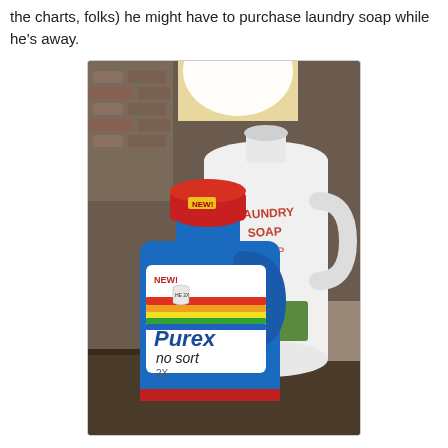the charts, folks) he might have to purchase laundry soap while he's away.
[Figure (photo): Photo of a Purex no sort laundry detergent bottle (blue, with red cap labeled NEW!) in front of a large white jug with handwritten text reading 'LAUNDRY SOAP 1/4 CUP'. Both bottles sit on a surface indoors.]